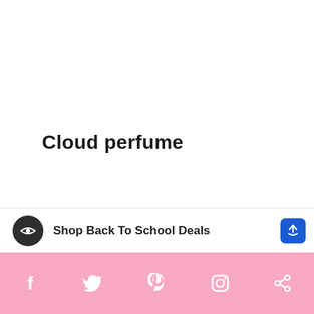Cloud perfume
[Figure (photo): A cloud-shaped perfume bottle with silver metallic nozzle and pump, light blue/clear glass body shaped like a cloud arch, photographed on white background]
Shop Back To School Deals
[Figure (infographic): Social media share bar with pink rounded buttons: Facebook (f), Twitter (bird), Pinterest (P), Instagram (camera), Share (arrow). Pink background bar at bottom of page.]